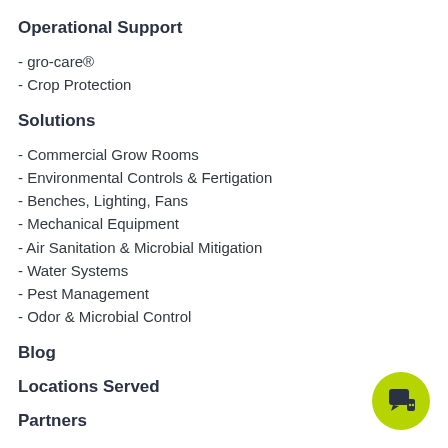Operational Support
- gro-care®
- Crop Protection
Solutions
- Commercial Grow Rooms
- Environmental Controls & Fertigation
- Benches, Lighting, Fans
- Mechanical Equipment
- Air Sanitation & Microbial Mitigation
- Water Systems
- Pest Management
- Odor & Microbial Control
Blog
Locations Served
Partners
Investors
Careers